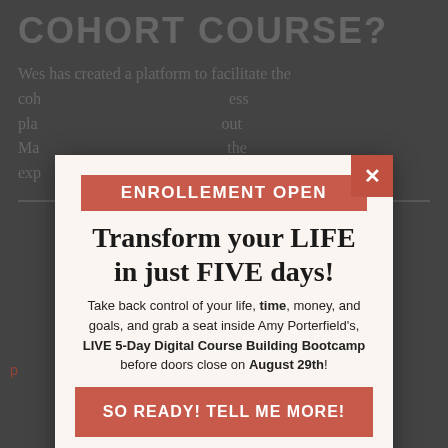COHORT COURSE?
Wes has created a platform to facilitate the cohort course business platform. About Ma the experience.
[Figure (screenshot): Pop-up modal advertisement overlay on a website page. Contains: salmon/red banner with 'ENROLLEMENT OPEN', headline 'Transform your LIFE in just FIVE days!', body text about Amy Porterfield's LIVE 5-Day Digital Course Building Bootcamp, a salmon CTA button 'SO READY! TELL ME MORE!', and a decline link 'Eh, I'll keep doin what I'm doin.' A red X close button is in the top-right corner of the modal.]
Eh, I'll keep doin what I'm doin.
business